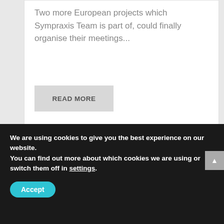Two more European projects which Sympraxis Team is part of, could finally organise their meetings...
READ MORE
[Figure (photo): Panel discussion at the Delphi Economic Forum with six panelists seated on a stage with blue lighting and 'Delphi Economic Forum' branding]
We are using cookies to give you the best experience on our website.
You can find out more about which cookies we are using or switch them off in settings.
Accept